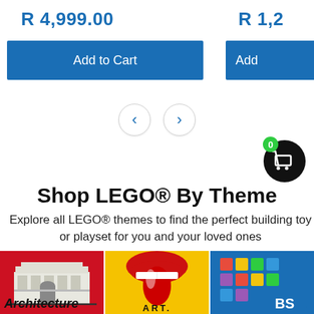R 4,999.00
R 1,2…
Add to Cart
Add…
[Figure (illustration): Navigation previous and next arrow buttons in circular bordered style]
[Figure (illustration): Shopping cart icon on black circular background with green badge showing 0]
Shop LEGO® By Theme
Explore all LEGO® themes to find the perfect building toy or playset for you and your loved ones
[Figure (illustration): LEGO Architecture theme tile showing a white building model on red background with 'Architecture' label]
[Figure (illustration): LEGO Art theme tile showing red lips logo on yellow background with 'ART' label]
[Figure (illustration): LEGO Brickscapes theme tile on blue background, partially visible]